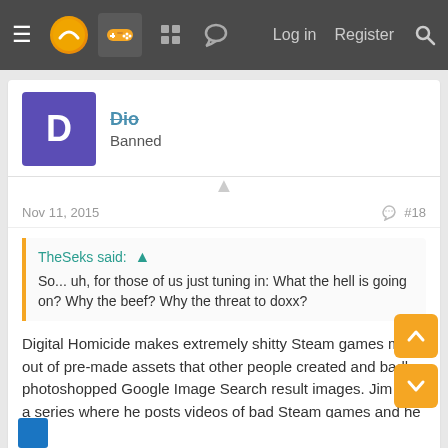≡  [logo]  [controller]  [grid]  [chat]    Log in   Register  [search]
Dio
Banned
Nov 11, 2015  #18
TheSeks said: ↑
So... uh, for those of us just tuning in: What the hell is going on? Why the beef? Why the threat to doxx?
Digital Homicide makes extremely shitty Steam games made out of pre-made assets that other people created and badly photoshopped Google Image Search result images. Jim has a series where he posts videos of bad Steam games and he touched on some of their products. They retaliated.